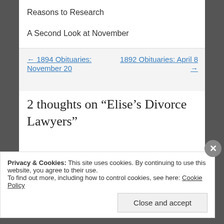Reasons to Research
A Second Look at November
← 1894 Obituaries: November 20
1892 Obituaries: April 8 →
2 thoughts on “Elise’s Divorce Lawyers”
Privacy & Cookies: This site uses cookies. By continuing to use this website, you agree to their use.
To find out more, including how to control cookies, see here: Cookie Policy
Close and accept